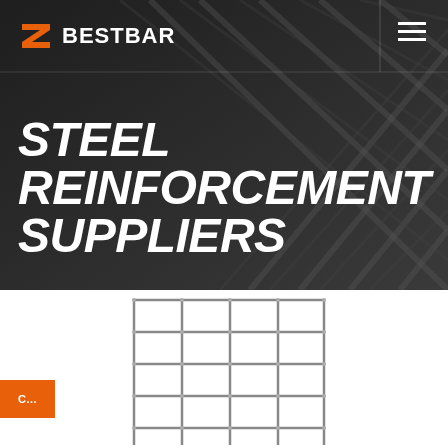[Figure (photo): Dark industrial background showing steel reinforcement bars in a cross-hatch pattern, used as hero banner background]
BESTBAR
STEEL REINFORCEMENT SUPPLIERS
[Figure (illustration): Steel reinforcement mesh / rebar grid shown from above on white background, lower half of page]